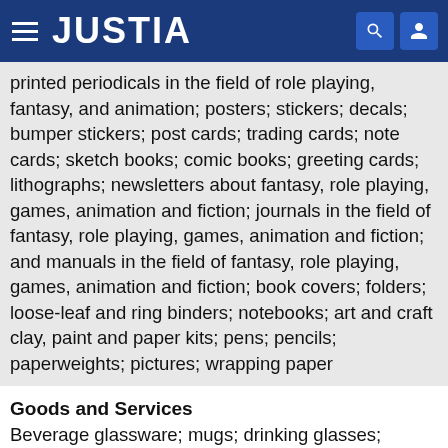JUSTIA
printed periodicals in the field of role playing, fantasy, and animation; posters; stickers; decals; bumper stickers; post cards; trading cards; note cards; sketch books; comic books; greeting cards; lithographs; newsletters about fantasy, role playing, games, animation and fiction; journals in the field of fantasy, role playing, games, animation and fiction; and manuals in the field of fantasy, role playing, games, animation and fiction; book covers; folders; loose-leaf and ring binders; notebooks; art and craft clay, paint and paper kits; pens; pencils; paperweights; pictures; wrapping paper
Goods and Services
Beverage glassware; mugs; drinking glasses; drinking vessels; coasters, not of paper or textile